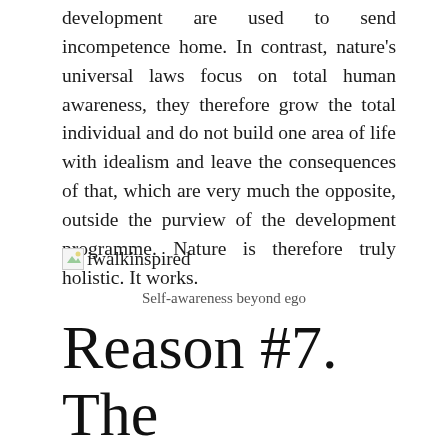development are used to send incompetence home. In contrast, nature's universal laws focus on total human awareness, they therefore grow the total individual and do not build one area of life with idealism and leave the consequences of that, which are very much the opposite, outside the purview of the development programme. Nature is therefore truly holistic. It works.
[Figure (illustration): Broken image placeholder showing 'iwalkinspired' text with a small image icon]
Self-awareness beyond ego
Reason #7. The